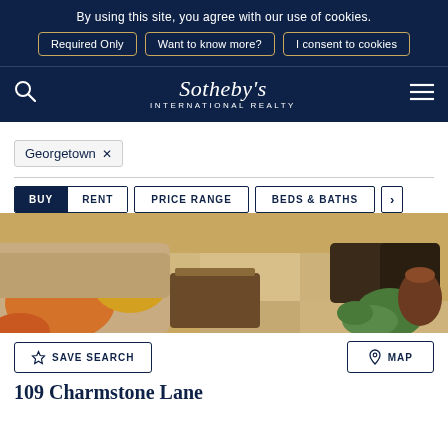By using this site, you agree with our use of cookies.
Required Only | Want to know more? | I consent to cookies
Sotheby's International Realty
Georgetown ×
BUY | RENT | PRICE RANGE | BEDS & BATHS
[Figure (photo): Outdoor patio with beige sofa, orange and yellow cushions, wooden coffee table, and decorative planters on stone tile flooring]
☆ SAVE SEARCH
⊙ MAP
109 Charmstone Lane